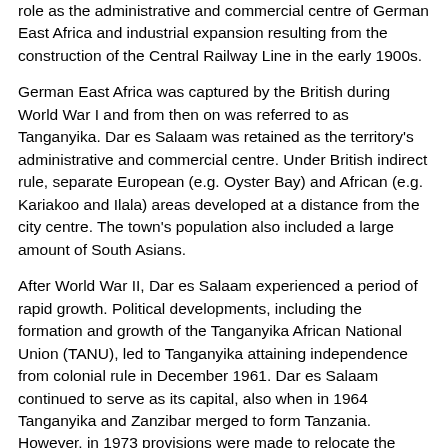role as the administrative and commercial centre of German East Africa and industrial expansion resulting from the construction of the Central Railway Line in the early 1900s.
German East Africa was captured by the British during World War I and from then on was referred to as Tanganyika. Dar es Salaam was retained as the territory's administrative and commercial centre. Under British indirect rule, separate European (e.g. Oyster Bay) and African (e.g. Kariakoo and Ilala) areas developed at a distance from the city centre. The town's population also included a large amount of South Asians.
After World War II, Dar es Salaam experienced a period of rapid growth. Political developments, including the formation and growth of the Tanganyika African National Union (TANU), led to Tanganyika attaining independence from colonial rule in December 1961. Dar es Salaam continued to serve as its capital, also when in 1964 Tanganyika and Zanzibar merged to form Tanzania. However, in 1973 provisions were made to relocate the capital to Dodoma, a more centrally located city in Tanzania's interior. The relocation process has not yet been completed, and Dar es Salaam remains Tanzania's primary city.